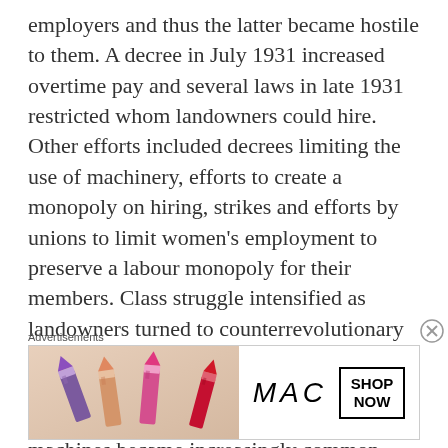employers and thus the latter became hostile to them. A decree in July 1931 increased overtime pay and several laws in late 1931 restricted whom landowners could hire. Other efforts included decrees limiting the use of machinery, efforts to create a monopoly on hiring, strikes and efforts by unions to limit women's employment to preserve a labour monopoly for their members. Class struggle intensified as landowners turned to counterrevolutionary organisations and local oligarchs. Strikes, workplace theft, arson, robbery and assaults on shops, strikebreakers, employers and machines became increasingly common. Ultimately, the reforms of the Republican-Socialist government alienated as many people as
Advertisements
[Figure (photo): Advertisement banner for MAC cosmetics showing colorful lipsticks on the left side and MAC logo with SHOP NOW button on the right]